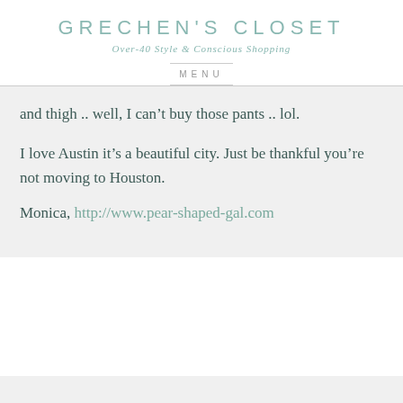GRECHEN'S CLOSET
Over-40 Style & Conscious Shopping
MENU
and thigh .. well, I can't buy those pants .. lol.

I love Austin it's a beautiful city. Just be thankful you're not moving to Houston.

Monica, http://www.pear-shaped-gal.com